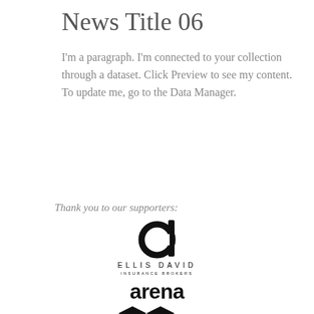News Title 06
I'm a paragraph. I'm connected to your collection through a dataset. Click Preview to see my content. To update me, go to the Data Manager.
Read More
Thank you to our supporters:
[Figure (logo): Ellis David Insurance Brokers logo — stylized letter d with circular element, text ELLIS DAVID INSURANCE BROKERS below]
[Figure (logo): arena logo in bold black lowercase text with two diamond shapes below]